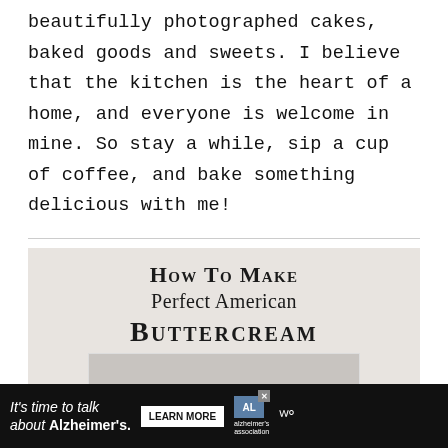beautifully photographed cakes, baked goods and sweets. I believe that the kitchen is the heart of a home, and everyone is welcome in mine. So stay a while, sip a cup of coffee, and bake something delicious with me!
[Figure (infographic): Gray card with text 'How To Make Perfect American Buttercream' in serif font, with a partial white-framed photo at the bottom]
It's time to talk about Alzheimer's. LEARN MORE [Alzheimer's Association logo]